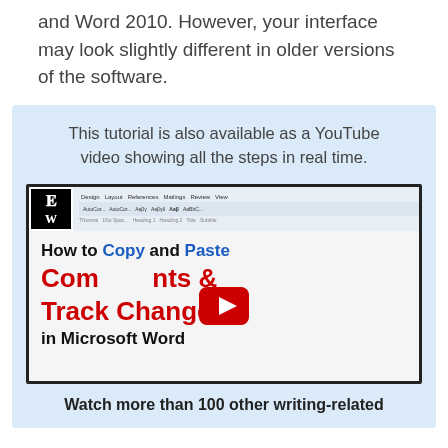and Word 2010. However, your interface may look slightly different in older versions of the software.
This tutorial is also available as a YouTube video showing all the steps in real time.
[Figure (screenshot): YouTube video thumbnail showing 'How to Copy and Paste Comments & Track Changes in Microsoft Word' with a red YouTube play button overlay and Microsoft Word toolbar at top]
Watch more than 100 other writing-related